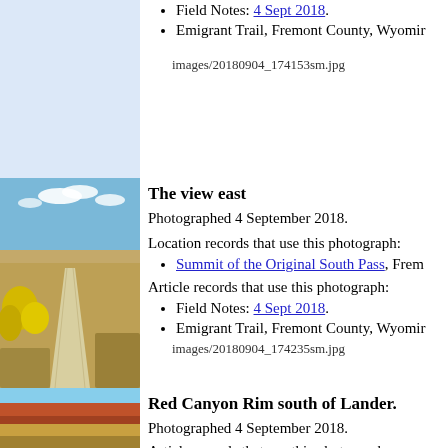Field Notes: 4 Sept 2018.
Emigrant Trail, Fremont County, Wyoming
images/20180904_174153sm.jpg
[Figure (photo): View east along a dirt road through Wyoming prairie with yellow flowering shrubs and a blue sky with clouds]
The view east
Photographed 4 September 2018.
Location records that use this photograph:
Summit of the Original South Pass, Fre...
Article records that use this photograph:
Field Notes: 4 Sept 2018.
Emigrant Trail, Fremont County, Wyoming
images/20180904_174235sm.jpg
[Figure (photo): Red Canyon Rim south of Lander, Wyoming showing red rock formations and golden prairie grasses under blue sky]
Red Canyon Rim south of Lander.
Photographed 4 September 2018.
Article records that use this photograph:
Field Notes: 4 Sept 2018